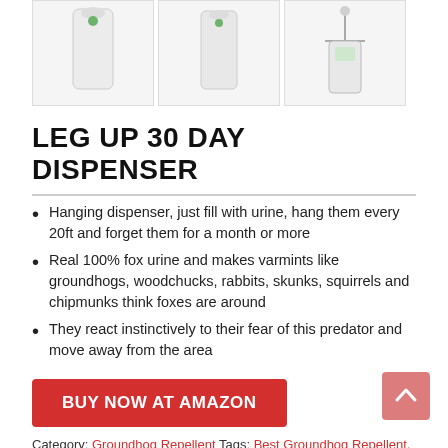[Figure (photo): Three product thumbnail images of Leg Up 30 Day Dispenser bottles/containers on white background]
LEG UP 30 DAY DISPENSER
Hanging dispenser, just fill with urine, hang them every 20ft and forget them for a month or more
Real 100% fox urine and makes varmints like groundhogs, woodchucks, rabbits, skunks, squirrels and chipmunks think foxes are around
They react instinctively to their fear of this predator and move away from the area
BUY NOW AT AMAZON
Category: Groundhog Repellent Tags: Best Groundhog Repellent,